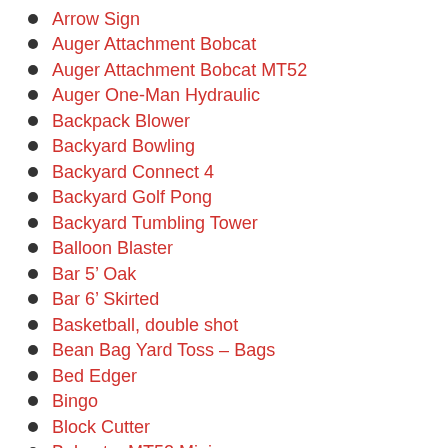Arrow Sign
Auger Attachment Bobcat
Auger Attachment Bobcat MT52
Auger One-Man Hydraulic
Backpack Blower
Backyard Bowling
Backyard Connect 4
Backyard Golf Pong
Backyard Tumbling Tower
Balloon Blaster
Bar 5’ Oak
Bar 6’ Skirted
Basketball, double shot
Bean Bag Yard Toss – Bags
Bed Edger
Bingo
Block Cutter
Bobcat – MT52 Mini
Bobcat – S185